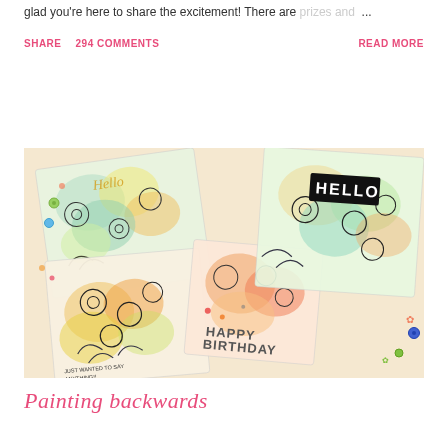glad you're here to share the excitement! There are prizes and ...
SHARE   294 COMMENTS   READ MORE
[Figure (photo): A collage of handmade watercolor greeting cards featuring floral designs in pastel colors (pink, orange, yellow, green). Cards include messages such as 'Hello', 'HELLO', 'HAPPY BIRTHDAY', and 'JUST WANTED TO SAY'. Decorated with buttons and embellishments.]
Painting backwards